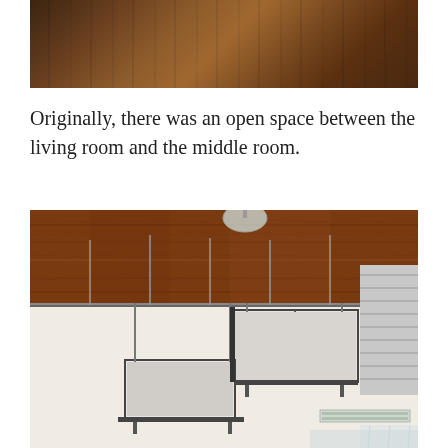[Figure (photo): Close-up of dark walnut wood flooring or tabletop surface with visible wood grain pattern]
Originally, there was an open space between the living room and the middle room.
[Figure (photo): Interior loft space showing ceiling with exposed wooden beams, metal shelving units suspended from the ceiling, a large HVAC duct on the right, and plastic sheeting visible at the bottom. The space appears to be under renovation.]